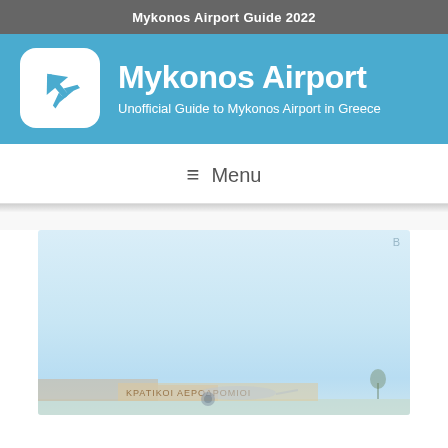Mykonos Airport Guide 2022
Mykonos Airport
Unofficial Guide to Mykonos Airport in Greece
Menu
[Figure (photo): Photograph of Mykonos Airport exterior showing airport building with Greek text sign reading ΚΡΑΤΙΚΟΙ ΑΕΡΟΔΡΟΜΙΟΙ (State Airports) and an airplane on the tarmac under a pale blue hazy sky]